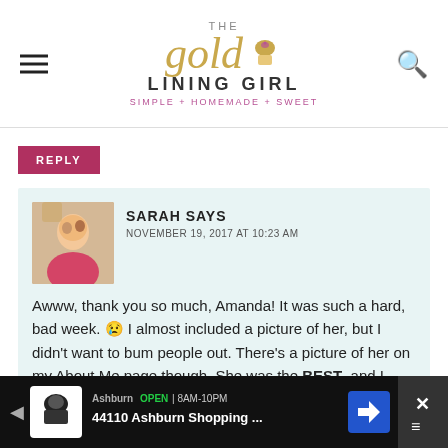The Gold Lining Girl — Simple + Homemade + Sweet
REPLY
SARAH SAYS
NOVEMBER 19, 2017 AT 10:23 AM
Awww, thank you so much, Amanda! It was such a hard, bad week. 😢 I almost included a picture of her, but I didn't want to bum people out. There's a picture of her on my About Me page though. She was the BEST, and I miss her desperately. I appreciate your nice comment today – you're so kind! I hope you and your family have a wonderful Thanksgiving. 🙂
[Figure (screenshot): Ad bar at bottom showing Ashburn OPEN 8AM-10PM, 44110 Ashburn Shopping... with navigation icon and close button]